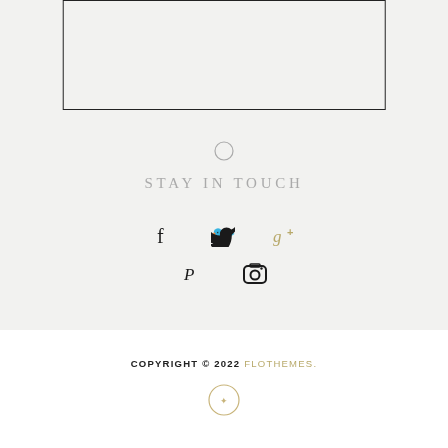[Figure (other): Partial border box visible at top of page (cropped rectangle outline)]
[Figure (other): Small circle/ring decorative symbol centered on page]
STAY IN TOUCH
[Figure (other): Social media icons row 1: Facebook (f), Twitter (bird), Google+ (g+)]
[Figure (other): Social media icons row 2: Pinterest (p), Instagram (camera)]
COPYRIGHT © 2022 FLOTHEMES.
[Figure (logo): Circular logo emblem with decorative initials, gold/tan color]